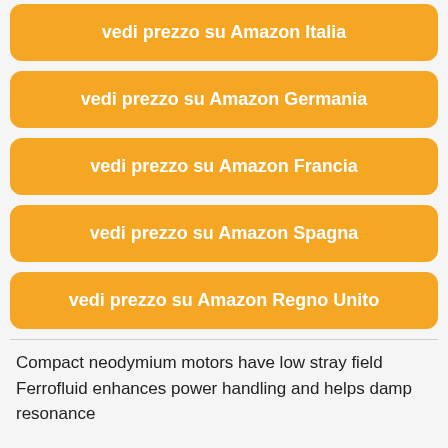vedi prezzo su Amazon Italia
vedi prezzo su Amazon Germania
vedi prezzo su Amazon Francia
vedi prezzo su Amazon Spagna
vedi prezzo su Amazon Regno Unito
Compact neodymium motors have low stray field Ferrofluid enhances power handling and helps damp resonance